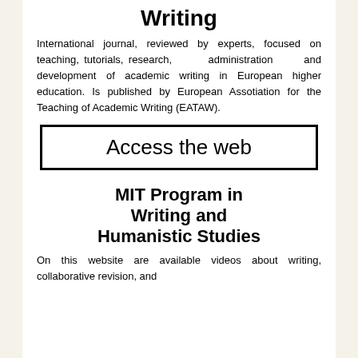Writing
International journal, reviewed by experts, focused on teaching, tutorials, research, administration and development of academic writing in European higher education. Is published by European Assotiation for the Teaching of Academic Writing (EATAW).
Access the web
MIT Program in Writing and Humanistic Studies
On this website are available videos about writing, collaborative revision, and